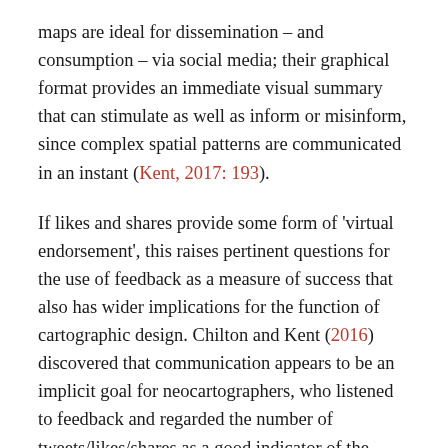maps are ideal for dissemination – and consumption – via social media; their graphical format provides an immediate visual summary that can stimulate as well as inform or misinform, since complex spatial patterns are communicated in an instant (Kent, 2017: 193).
If likes and shares provide some form of 'virtual endorsement', this raises pertinent questions for the use of feedback as a measure of success that also has wider implications for the function of cartographic design. Chilton and Kent (2016) discovered that communication appears to be an implicit goal for neocartographers, who listened to feedback and regarded the number of tweets/likes/shares as a good indicator of the success of their cartographic design, to the point of influencing the conception and design of their future maps. This capacity to respond to user feedback (by